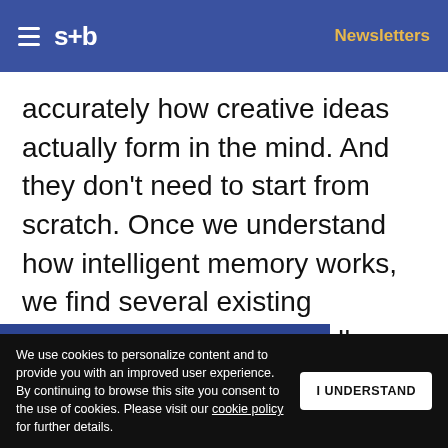s+b | Newsletters
accurately how creative ideas actually form in the mind. And they don't need to start from scratch. Once we understand how intelligent memory works, we find several existing techniques that fit. After all, human beings have innovated for eons. If we study how innovation actually happens, we can learn how to do it more reliably.
Get s+b's award-winning newsletter delivered to your inbox.
We use cookies to personalize content and to provide you with an improved user experience. By continuing to browse this site you consent to the use of cookies. Please visit our cookie policy for further details.